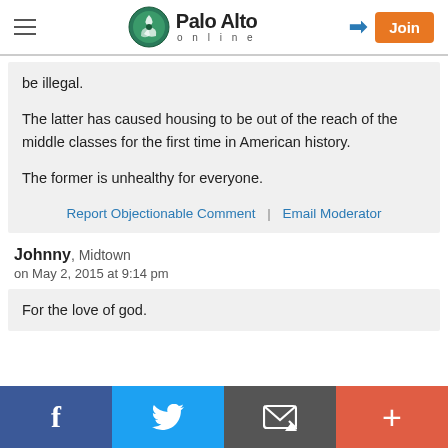Palo Alto online
be illegal.

The latter has caused housing to be out of the reach of the middle classes for the first time in American history.

The former is unhealthy for everyone.
Report Objectionable Comment | Email Moderator
Johnny, Midtown
on May 2, 2015 at 9:14 pm
For the love of god.
Facebook  Twitter  Email  +